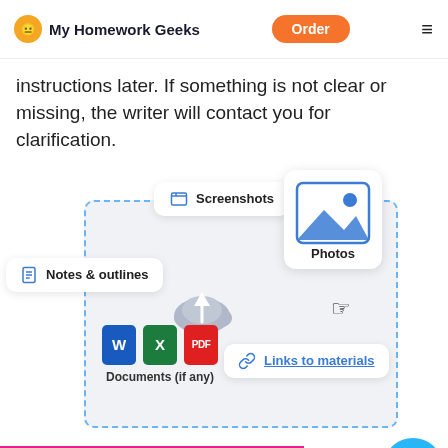My Homework Geeks | Order
instructions later. If something is not clear or missing, the writer will contact you for clarification.
[Figure (infographic): Infographic showing file upload options: Screenshots, Notes & outlines, Photos (with image icon), Documents (if any) with Word/Excel/PDF icons, Links to materials, cloud upload icon, and a hand cursor pointer. All inside a dashed blue border box.]
Check the price of your paper